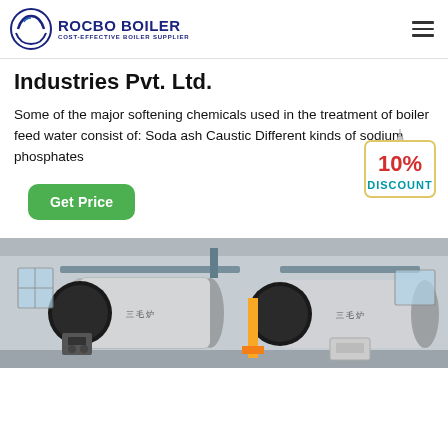ROCBO BOILER — COST-EFFECTIVE BOILER SUPPLIER
Industries Pvt. Ltd.
Some of the major softening chemicals used in the treatment of boiler feed water consist of: Soda ash Caustic Different kinds of sodium phosphates
[Figure (infographic): 10% DISCOUNT badge — a hanging tag style badge with '10%' in red and 'DISCOUNT' in teal/blue below]
[Figure (photo): Industrial boiler room showing large cylindrical horizontal boilers in a factory setting, with metal pipes, yellow supports, and industrial equipment visible.]